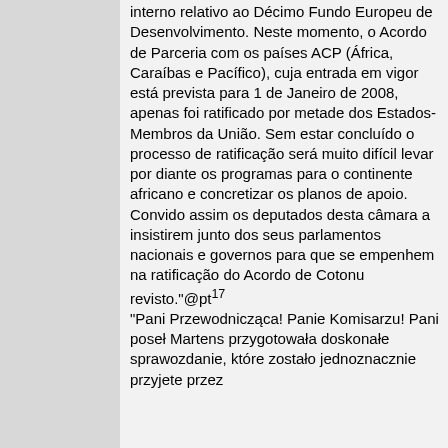interno relativo ao Décimo Fundo Europeu de Desenvolvimento. Neste momento, o Acordo de Parceria com os países ACP (África, Caraíbas e Pacífico), cuja entrada em vigor está prevista para 1 de Janeiro de 2008, apenas foi ratificado por metade dos Estados-Membros da União. Sem estar concluído o processo de ratificação será muito difícil levar por diante os programas para o continente africano e concretizar os planos de apoio. Convido assim os deputados desta câmara a insistirem junto dos seus parlamentos nacionais e governos para que se empenhem na ratificação do Acordo de Cotonu revisto."@pt¹⁷ "Pani Przewodnicząca! Panie Komisarzu! Pani poseł Martens przygotowała doskonałe sprawozdanie, które zostało jednoznacznie przyjete przez